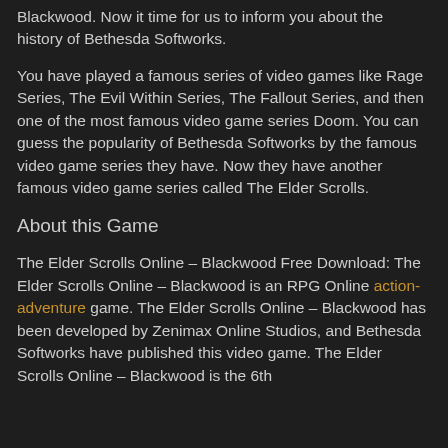Blackwood. Now it time for us to inform you about the history of Bethesda Softworks.
You have played a famous series of video games like Rage Series, The Evil Within Series, The Fallout Series, and then one of the most famous video game series Doom. You can guess the popularity of Bethesda Softworks by the famous video game series they have. Now they have another famous video game series called The Elder Scrolls.
About this Game
The Elder Scrolls Online – Blackwood Free Download: The Elder Scrolls Online – Blackwood is an RPG Online action-adventure game. The Elder Scrolls Online – Blackwood has been developed by Zenimax Online Studios, and Bethesda Softworks have published this video game. The Elder Scrolls Online – Blackwood is the 6th